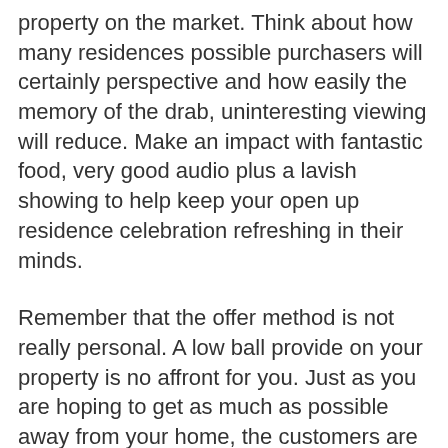property on the market. Think about how many residences possible purchasers will certainly perspective and how easily the memory of the drab, uninteresting viewing will reduce. Make an impact with fantastic food, very good audio plus a lavish showing to help keep your open up residence celebration refreshing in their minds.
Remember that the offer method is not really personal. A low ball provide on your property is no affront for you. Just as you are hoping to get as much as possible away from your home, the customers are attempting for top level package. Will not deny a shopper from making a followup offer you in case the original quote is way too reduced.
Crystal clear off of your counter tops. Take away anything from your kitchen and bathroom counters. A prospective customer needs to have a wise idea from the readily available counter area, and that is